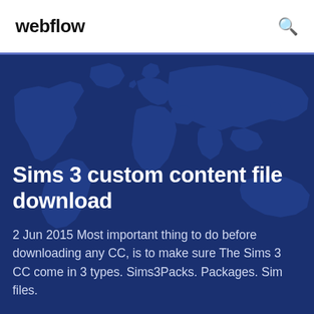webflow
Sims 3 custom content file download
2 Jun 2015 Most important thing to do before downloading any CC, is to make sure The Sims 3 CC come in 3 types. Sims3Packs. Packages. Sim files.